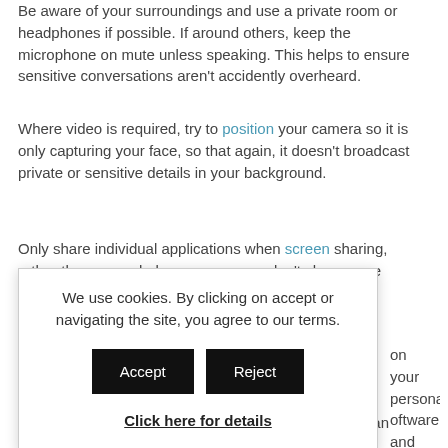Be aware of your surroundings and use a private room or headphones if possible. If around others, keep the microphone on mute unless speaking. This helps to ensure sensitive conversations aren't accidently overheard.
Where video is required, try to position your camera so it is only capturing your face, so that again, it doesn't broadcast private or sensitive details in your background.
Only share individual applications when screen sharing, rather than your whole screen so you don't share more content than is needed.
We use cookies. By clicking on accept or navigating the site, you agree to our terms.
Click here for details
...on your personal ...oftware and ...vent ...e to access your ...ich web conferencing system is the best for your needs, you can